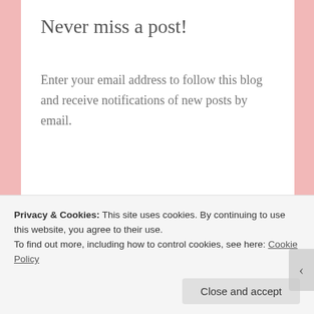Never miss a post!
Enter your email address to follow this blog and receive notifications of new posts by email.
Enter your email address
Follow
Privacy & Cookies: This site uses cookies. By continuing to use this website, you agree to their use.
To find out more, including how to control cookies, see here: Cookie Policy
Close and accept